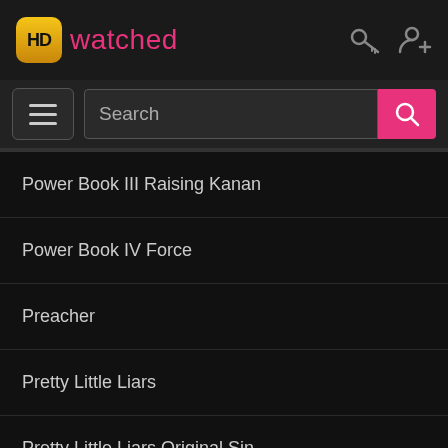HD watched
[Figure (screenshot): Search bar with hamburger menu button and pink search button]
Power Book III Raising Kanan
Power Book IV Force
Preacher
Pretty Little Liars
Pretty Little Liars Original Sin
Prison Break
Prodigal Son
Project Blue Book